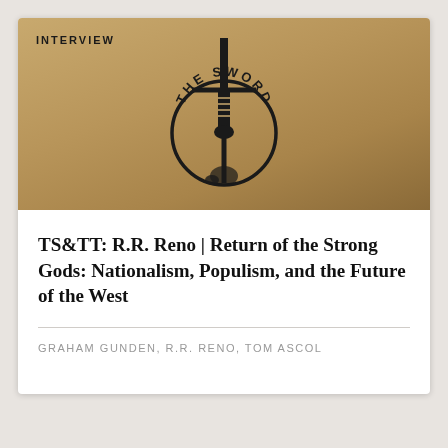[Figure (logo): The Sword circular logo with a sword and banner reading 'THE SWORD', on a tan/brown gradient background with 'INTERVIEW' label in top-left corner]
TS&TT: R.R. Reno | Return of the Strong Gods: Nationalism, Populism, and the Future of the West
GRAHAM GUNDEN, R.R. RENO, TOM ASCOL